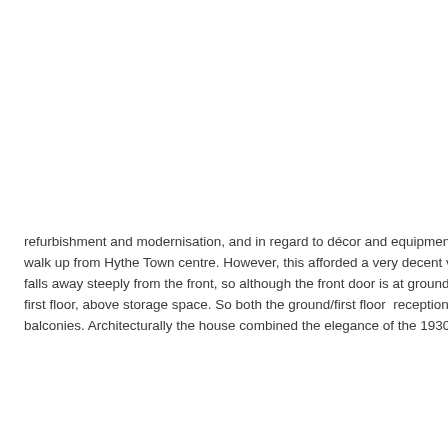refurbishment and modernisation, and in regard to décor and equipment. It walk up from Hythe Town centre. However, this afforded a very decent view falls away steeply from the front, so although the front door is at ground lev first floor, above storage space. So both the ground/first floor  reception roc balconies. Architecturally the house combined the elegance of the 1930s a